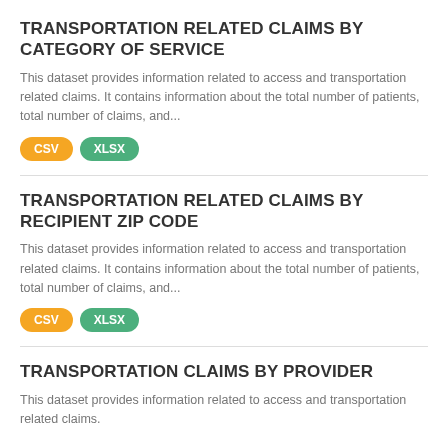TRANSPORTATION RELATED CLAIMS BY CATEGORY OF SERVICE
This dataset provides information related to access and transportation related claims. It contains information about the total number of patients, total number of claims, and...
CSV  XLSX
TRANSPORTATION RELATED CLAIMS BY RECIPIENT ZIP CODE
This dataset provides information related to access and transportation related claims. It contains information about the total number of patients, total number of claims, and...
CSV  XLSX
TRANSPORTATION CLAIMS BY PROVIDER
This dataset provides information related to access and transportation related claims.